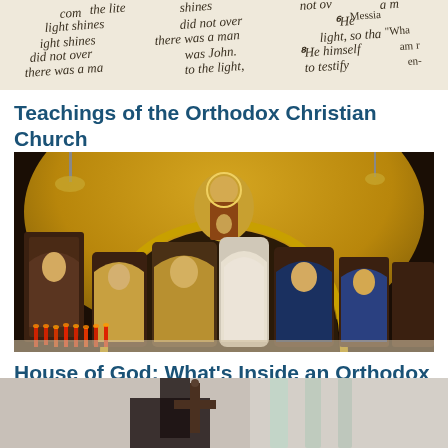[Figure (photo): Close-up of an open Bible with text visible including words like 'the light shines', 'did not over', 'there was a man', 'was John', 'to the light', 'He himself', 'to testify', 'Messiah', 'What']
Teachings of the Orthodox Christian Church
[Figure (photo): Interior of an Orthodox Christian church showing golden mosaic apse with icon of the Virgin Mary and Christ child, multiple arched iconostasis panels with saints, candles lit in the foreground]
House of God: What's Inside an Orthodox Church?
[Figure (photo): Person holding an ornate Orthodox cross in the foreground with candles in the background, partially cropped at bottom of page]